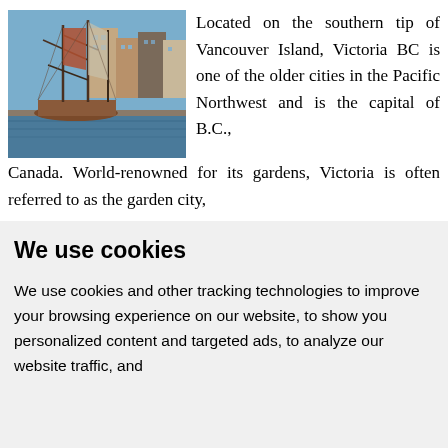[Figure (photo): A tall ship with masts docked in a harbor, with historic buildings visible in the background. Blue sky and calm water.]
Located on the southern tip of Vancouver Island, Victoria BC is one of the older cities in the Pacific Northwest and is the capital of B.C., Canada. World-renowned for its gardens, Victoria is often referred to as the garden city,
We use cookies
We use cookies and other tracking technologies to improve your browsing experience on our website, to show you personalized content and targeted ads, to analyze our website traffic, and